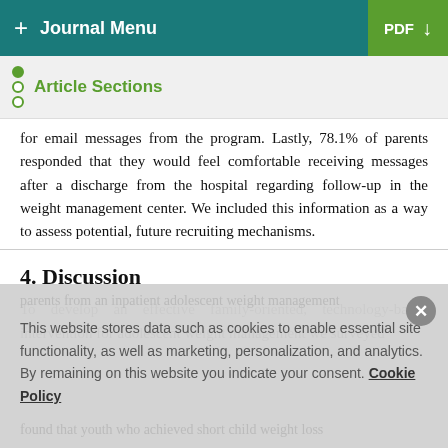+ Journal Menu | PDF ↓
Article Sections
for email messages from the program. Lastly, 78.1% of parents responded that they would feel comfortable receiving messages after a discharge from the hospital regarding follow-up in the weight management center. We included this information as a way to assess potential, future recruiting mechanisms.
4. Discussion
To develop an effective family-oriented, technology-based intervention for adolescent weight management we surveyed
This website stores data such as cookies to enable essential site functionality, as well as marketing, personalization, and analytics. By remaining on this website you indicate your consent. Cookie Policy